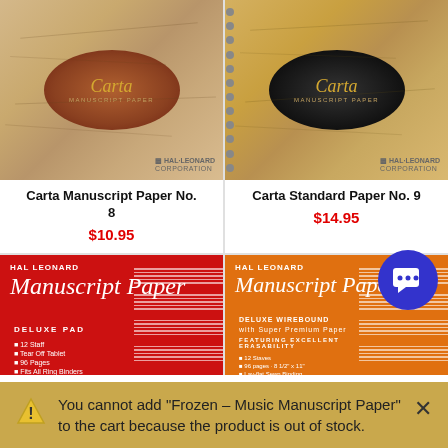[Figure (photo): Carta Manuscript Paper No. 8 book cover - tan/beige textured background with brown oval Carta logo]
[Figure (photo): Carta Standard Paper No. 9 spiral-bound book cover - tan/beige textured background with black oval Carta logo]
Carta Manuscript Paper No. 8
$10.95
Carta Standard Paper No. 9
$14.95
[Figure (photo): Hal Leonard Manuscript Paper Deluxe Pad - red cover with script title and bullet points]
[Figure (photo): Hal Leonard Manuscript Paper Deluxe Wirebound - orange cover with script title]
You cannot add "Frozen - Music Manuscript Paper" to the cart because the product is out of stock.